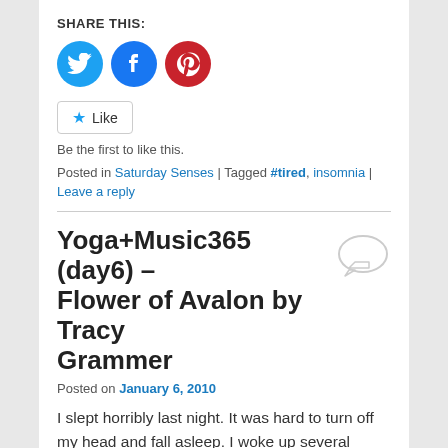SHARE THIS:
[Figure (illustration): Three social media share buttons: Twitter (blue circle with bird icon), Facebook (blue circle with f icon), Pinterest (red circle with P icon)]
Like
Be the first to like this.
Posted in Saturday Senses | Tagged #tired, insomnia | Leave a reply
Yoga+Music365 (day6) – Flower of Avalon by Tracy Grammer
Posted on January 6, 2010
I slept horribly last night. It was hard to turn off my head and fall asleep. I woke up several times and had a hard time turning my head off to go back to sleep. The alarm went off way too early today. Needless to say, the